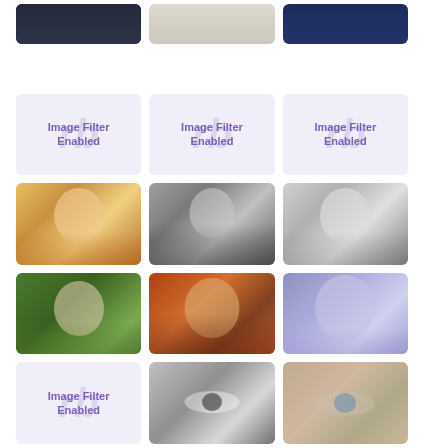[Figure (photo): Grid of portrait photos and image filter placeholders. Row 1: tops of 3 photos partially visible. Row 2: 3 'Image Filter Enabled' placeholder tiles. Row 3: 3 portrait photos - warm painted blonde, black-and-white outdoor portrait, pencil sketch portrait. Row 4: 3 portraits - painted blonde outdoors, amber-toned portrait, purple-tinted close-up. Row 5: 1 'Image Filter Enabled' placeholder, close-up of eyes in grayscale, close-up face with blue eyes.]